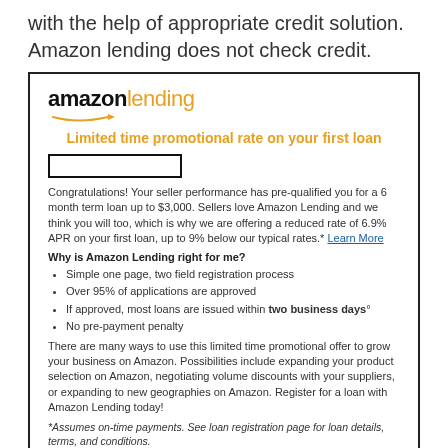with the help of appropriate credit solution. Amazon lending does not check credit.
[Figure (screenshot): Amazon Lending promotional advertisement box with logo, promotional heading, pre-qualification text, bullet points, and a Learn more button.]
Limited time promotional rate on your first loan
Congratulations! Your seller performance has pre-qualified you for a 6 month term loan up to $3,000. Sellers love Amazon Lending and we think you will too, which is why we are offering a reduced rate of 6.9% APR on your first loan, up to 9% below our typical rates.* Learn More
Why is Amazon Lending right for me?
Simple one page, two field registration process
Over 95% of applications are approved
If approved, most loans are issued within two business days°
No pre-payment penalty
There are many ways to use this limited time promotional offer to grow your business on Amazon. Possibilities include expanding your product selection on Amazon, negotiating volume discounts with your suppliers, or expanding to new geographies on Amazon. Register for a loan with Amazon Lending today!
*Assumes on-time payments. See loan registration page for loan details, terms, and conditions.
This invitation is subject to eligibility and expires on Dec 10, 2016. Registration for Amazon Lending is by invitation only.